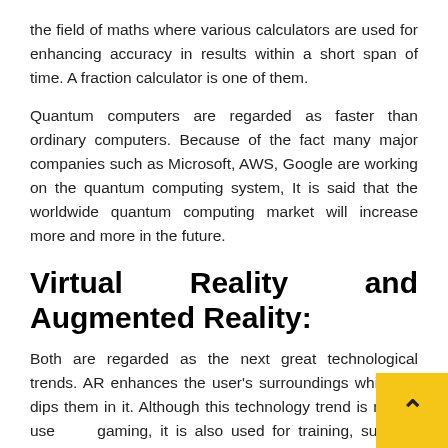the field of maths where various calculators are used for enhancing accuracy in results within a short span of time. A fraction calculator is one of them.
Quantum computers are regarded as faster than ordinary computers. Because of the fact many major companies such as Microsoft, AWS, Google are working on the quantum computing system, It is said that the worldwide quantum computing market will increase more and more in the future.
Virtual Reality and Augmented Reality:
Both are regarded as the next great technological trends. AR enhances the user's surroundings while VR dips them in it. Although this technology trend is mostly used gaming, it is also used for training, such as VirtualShip. It is also thought that this kind of technology may become much more incorporated into our lives in the